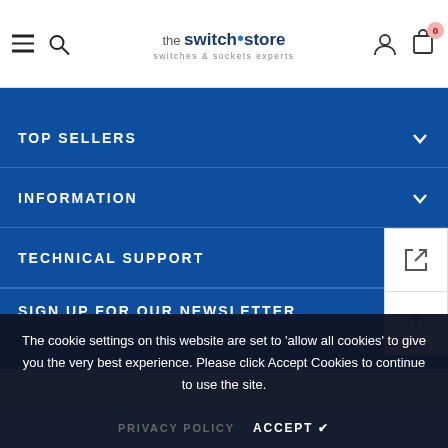the switch store — switches & sockets experts
TOP SELLERS
INFORMATION
TECHNICAL SUPPORT
SIGN UP FOR OUR NEWSLETTER
The cookie settings on this website are set to 'allow all cookies' to give you the very best experience. Please click Accept Cookies to continue to use the site.
PRIVACY POLICY   ACCEPT ✔